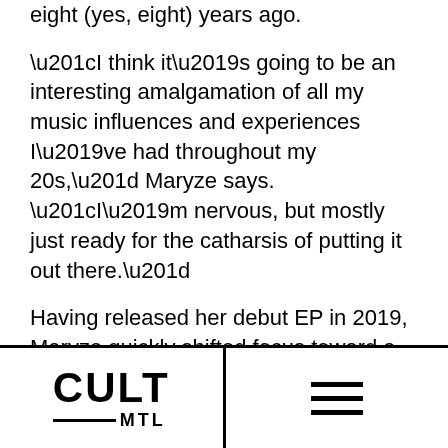eight (yes, eight) years ago.
“I think it’s going to be an interesting amalgamation of all my music influences and experiences I’ve had throughout my 20s,” Maryze says. “I’m nervous, but mostly just ready for the catharsis of putting it out there.”
Having released her debut EP in 2019, Maryze quickly shifted focus toward a full-length, while also collecting years’ worth of unfinished tunes
CULT MTL [logo] | hamburger menu